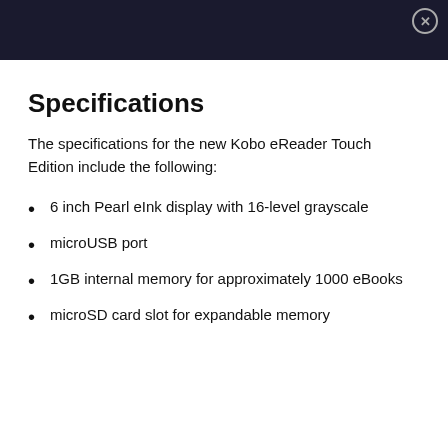Specifications
The specifications for the new Kobo eReader Touch Edition include the following:
6 inch Pearl eInk display with 16-level grayscale
microUSB port
1GB internal memory for approximately 1000 eBooks
microSD card slot for expandable memory